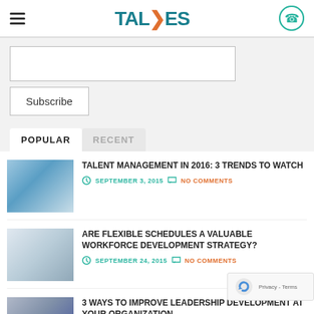TALEXES
[Figure (screenshot): Email input field for subscription]
Subscribe
POPULAR  RECENT
TALENT MANAGEMENT IN 2016: 3 TRENDS TO WATCH — SEPTEMBER 3, 2015 — NO COMMENTS
ARE FLEXIBLE SCHEDULES A VALUABLE WORKFORCE DEVELOPMENT STRATEGY? — SEPTEMBER 24, 2015 — NO COMMENTS
3 WAYS TO IMPROVE LEADERSHIP DEVELOPMENT AT YOUR ORGANIZATION